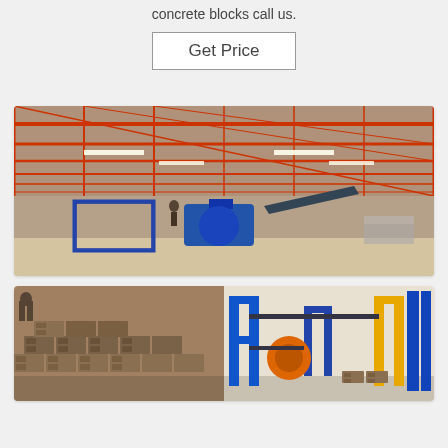concrete blocks call us.
Get Price
[Figure (photo): Industrial warehouse interior with red steel roof trusses and blue block-making machinery and conveyor belt on the floor]
[Figure (photo): Two side-by-side photos: left shows stacked concrete blocks on ground; right shows blue and yellow block-making machine with concrete blocks being produced]